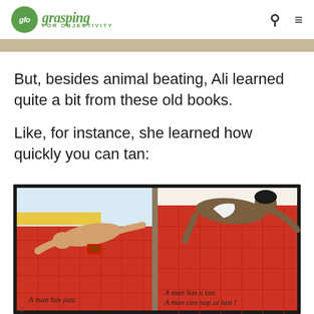gfo grasping FOR OBJECTIVITY
[Figure (photo): Partial top edge of a book or image, tan/brown color strip]
But, besides animal beating, Ali learned quite a bit from these old books.
Like, for instance, she learned how quickly you can tan:
[Figure (photo): Two pages of an old children's book showing illustrated figures lying on red surfaces. Left page reads 'A man has jazz.' Right page reads 'A man has a tan. A man can nap at last!']